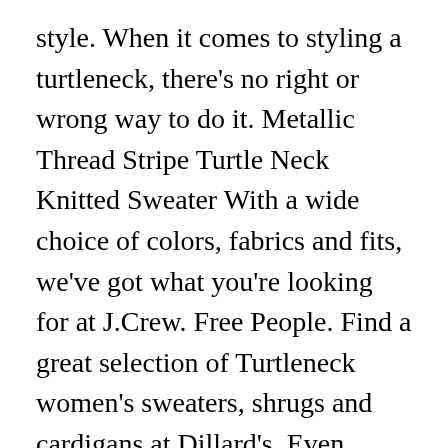style. When it comes to styling a turtleneck, there's no right or wrong way to do it. Metallic Thread Stripe Turtle Neck Knitted Sweater With a wide choice of colors, fabrics and fits, we've got what you're looking for at J.Crew. Free People. Find a great selection of Turtleneck women's sweaters, shrugs and cardigans at Dillard's. Even fewer things are more graceful than a dress. INC Mens Sweater Heather Onyx Gray Size 2XL Elite Ribbed Knit Turtleneck. From turtlenecks to tunics, Anthropologie's curated assortment of knits will make all your coziest cold-weather dreams come true. Turtle Neck Sweaters - Online Shopping for Turtle Neck Sweaters in